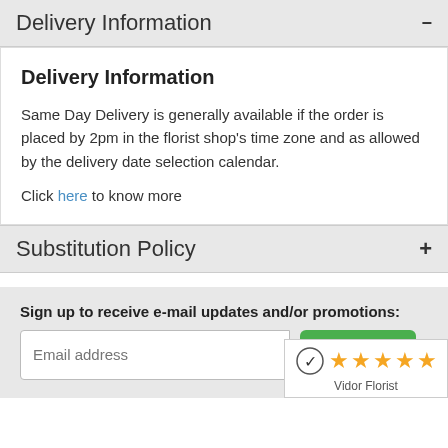Delivery Information
Delivery Information
Same Day Delivery is generally available if the order is placed by 2pm in the florist shop's time zone and as allowed by the delivery date selection calendar.
Click here to know more
Substitution Policy
Sign up to receive e-mail updates and/or promotions:
[Figure (other): Vidor Florist rating badge showing a checkmark logo and 5 orange stars with label 'Vidor Florist']